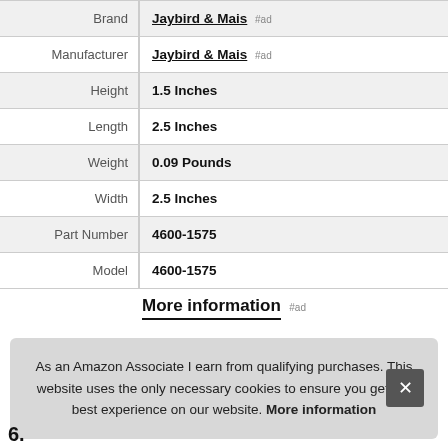| Brand | Jaybird & Mais #ad |
| Manufacturer | Jaybird & Mais #ad |
| Height | 1.5 Inches |
| Length | 2.5 Inches |
| Weight | 0.09 Pounds |
| Width | 2.5 Inches |
| Part Number | 4600-1575 |
| Model | 4600-1575 |
More information #ad
As an Amazon Associate I earn from qualifying purchases. This website uses the only necessary cookies to ensure you get the best experience on our website. More information
6.